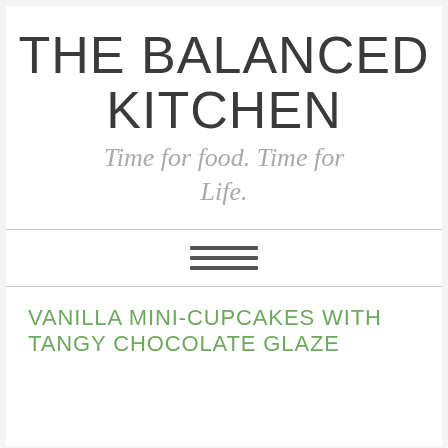THE BALANCED KITCHEN
Time for food. Time for Life.
VANILLA MINI-CUPCAKES WITH TANGY CHOCOLATE GLAZE